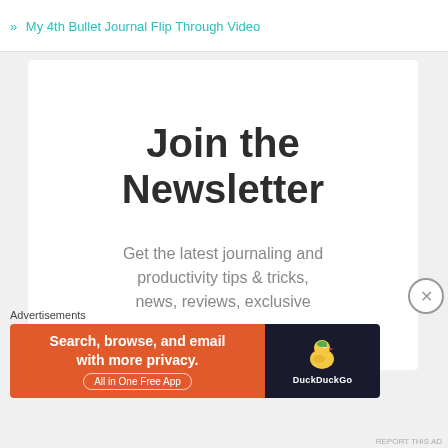» My 4th Bullet Journal Flip Through Video
Join the Newsletter
Get the latest journaling and productivity tips & tricks, news, reviews, exclusive
Advertisements
[Figure (screenshot): DuckDuckGo advertisement banner: orange left section with text 'Search, browse, and email with more privacy. All in One Free App' and dark right section with DuckDuckGo duck logo and brand name]